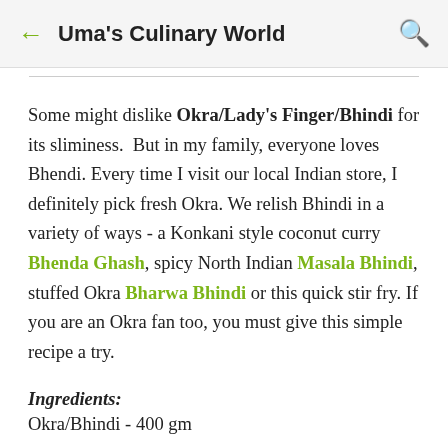Uma's Culinary World
Some might dislike Okra/Lady's Finger/Bhindi for its sliminess. But in my family, everyone loves Bhendi. Every time I visit our local Indian store, I definitely pick fresh Okra. We relish Bhindi in a variety of ways - a Konkani style coconut curry Bhenda Ghash, spicy North Indian Masala Bhindi, stuffed Okra Bharwa Bhindi or this quick stir fry. If you are an Okra fan too, you must give this simple recipe a try.
Ingredients:
Okra/Bhindi - 400 gm